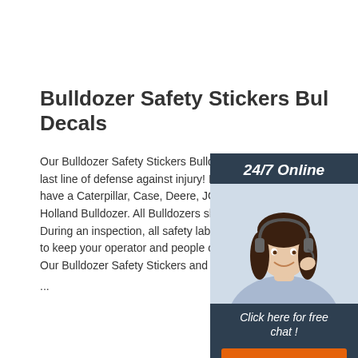Bulldozer Safety Stickers Bulldozer Decals
Our Bulldozer Safety Stickers Bulldozer Decals are the last line of defense against injury! It does not matter if you have a Caterpillar, Case, Deere, JCB, Kubota, New Holland Bulldozer. All Bulldozers should be inspected. During an inspection, all safety labels should be checked to keep your operator and people on the worksite safe. Our Bulldozer Safety Stickers and Bulldozer Decals... ...
[Figure (photo): Customer service agent photo with 24/7 Online banner, chat prompt, and QUOTATION button]
Get Price